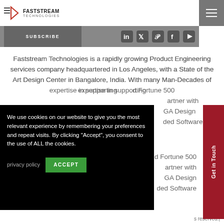Faststream Technologies
SUBSCRIBE
Faststream Technologies is a rapidly growing Product Engineering services company headquartered in Los Angeles, with a State of the Art Design Center in Bangalore, India. With many Man-Decades of expertise in supporting Fortune 500 partner with GA Design ded Software
We use cookies on our website to give you the most relevant experience by remembering your preferences and repeat visits. By clicking “Accept”, you consent to the use of ALL the cookies.

privacy policy   ACCEPT
Get in Touch
s reserved.|